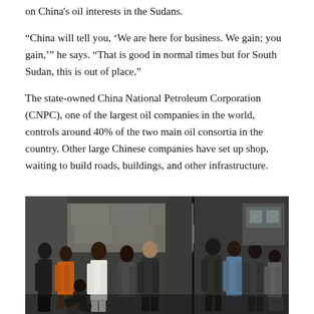on China's oil interests in the Sudans.
“China will tell you, ‘We are here for business. We gain; you gain,’” he says. “That is good in normal times but for South Sudan, this is out of place.”
The state-owned China National Petroleum Corporation (CNPC), one of the largest oil companies in the world, controls around 40% of the two main oil consortia in the country. Other large Chinese companies have set up shop, waiting to build roads, buildings, and other infrastructure.
[Figure (photo): Two-panel photograph showing groups of African people in an outdoor setting. Left panel shows several men in conversation near large sacks, with a man in a white suit and others casually dressed. Right panel shows another group of men standing near a vehicle.]